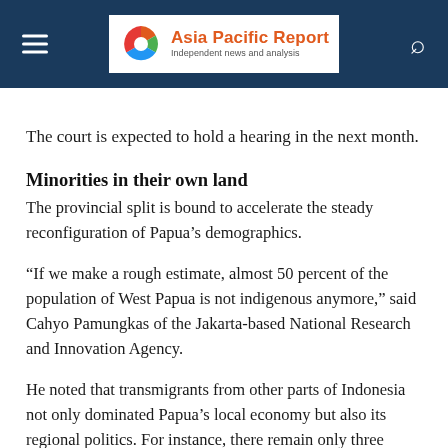Asia Pacific Report — Independent news and analysis
The court is expected to hold a hearing in the next month.
Minorities in their own land
The provincial split is bound to accelerate the steady reconfiguration of Papua’s demographics.
“If we make a rough estimate, almost 50 percent of the population of West Papua is not indigenous anymore,” said Cahyo Pamungkas of the Jakarta-based National Research and Innovation Agency.
He noted that transmigrants from other parts of Indonesia not only dominated Papua’s local economy but also its regional politics. For instance, there remain only three native Papuan